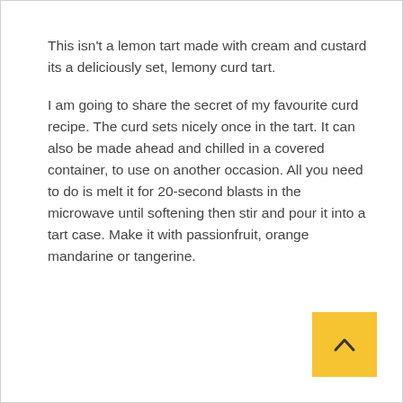This isn't a lemon tart made with cream and custard its a deliciously set, lemony curd tart.
I am going to share the secret of my favourite curd recipe. The curd sets nicely once in the tart. It can also be made ahead and chilled in a covered container, to use on another occasion. All you need to do is melt it for 20-second blasts in the microwave until softening then stir and pour it into a tart case. Make it with passionfruit, orange mandarine or tangerine.
[Figure (other): Yellow/gold square scroll-to-top button with an upward-pointing chevron arrow in dark color]